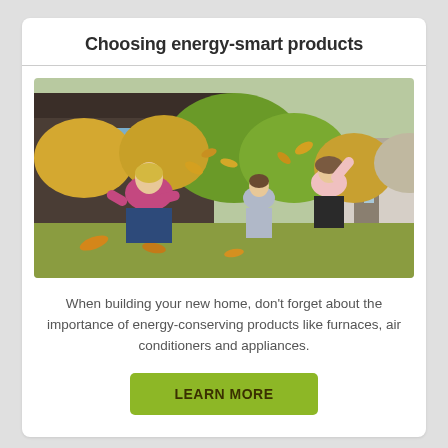Choosing energy-smart products
[Figure (photo): A woman kneeling outdoors playing with two young girls tossing autumn leaves in a yard with trees and a house in the background.]
When building your new home, don't forget about the importance of energy-conserving products like furnaces, air conditioners and appliances.
LEARN MORE
Turning a barn into an energy-smart home